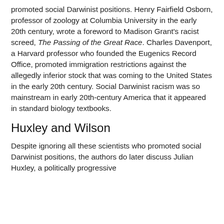promoted social Darwinist positions. Henry Fairfield Osborn, professor of zoology at Columbia University in the early 20th century, wrote a foreword to Madison Grant's racist screed, The Passing of the Great Race. Charles Davenport, a Harvard professor who founded the Eugenics Record Office, promoted immigration restrictions against the allegedly inferior stock that was coming to the United States in the early 20th century. Social Darwinist racism was so mainstream in early 20th-century America that it appeared in standard biology textbooks.
Huxley and Wilson
Despite ignoring all these scientists who promoted social Darwinist positions, the authors do later discuss Julian Huxley, a politically progressive